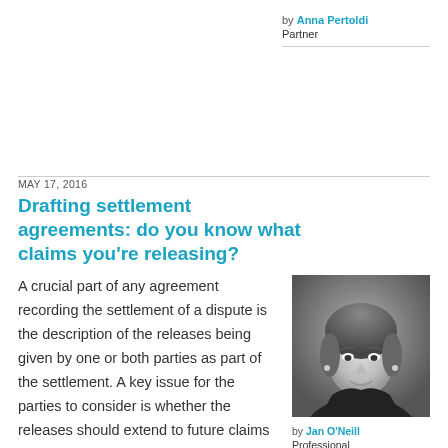by Anna Pertoldi
Partner
MAY 17, 2016
Drafting settlement agreements: do you know what claims you're releasing?
A crucial part of any agreement recording the settlement of a dispute is the description of the releases being given by one or both parties as part of the settlement. A key issue for the parties to consider is whether the releases should extend to future claims and, in particular, claims that are unknown at …
[Figure (photo): Black and white professional headshot of Jan O'Neill, a woman smiling, wearing a dark top]
by Jan O'Neill
Professional Support Lawyer
Continue reading →